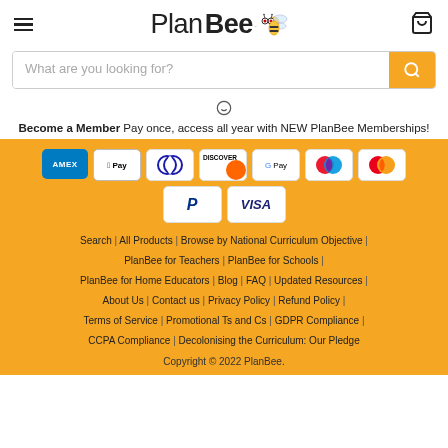PlanBee
What are you looking for?
Become a Member Pay once, access all year with NEW PlanBee Memberships!
[Figure (other): Payment method icons: AMEX, Apple Pay, Diners Club, Discover, Google Pay, two Mastercard variants, PayPal, Visa]
Search | All Products | Browse by National Curriculum Objective | PlanBee for Teachers | PlanBee for Schools | PlanBee for Home Educators | Blog | FAQ | Updated Resources | About Us | Contact us | Privacy Policy | Refund Policy | Terms of Service | Promotional Ts and Cs | GDPR Compliance | CCPA Compliance | Decolonising the Curriculum: Our Pledge
Copyright © 2022 PlanBee.